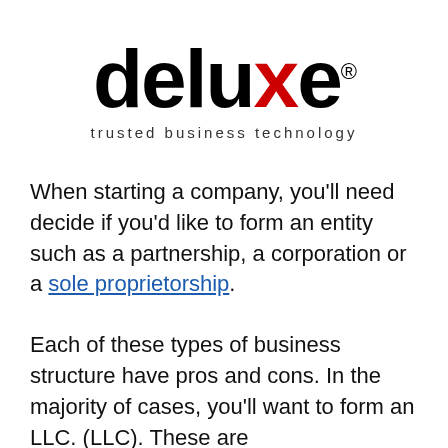[Figure (logo): Deluxe logo with red X and tagline 'trusted business technology']
When starting a company, you'll need decide if you'd like to form an entity such as a partnership, a corporation or a sole proprietorship.
Each of these types of business structure have pros and cons. In the majority of cases, you'll want to form an LLC. (LLC). These are